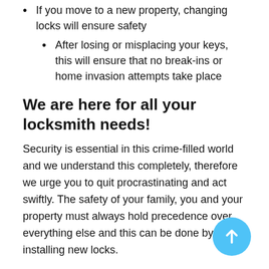If you move to a new property, changing locks will ensure safety
After losing or misplacing your keys, this will ensure that no break-ins or home invasion attempts take place
We are here for all your locksmith needs!
Security is essential in this crime-filled world and we understand this completely, therefore we urge you to quit procrastinating and act swiftly. The safety of your family, you and your property must always hold precedence over everything else and this can be done by installing new locks.
Litchfield Park AZ Locksmith Store aims to serve its clients diligently by providing them with the best and superior quality locking options that will ensure their safety. Our professional technicians are well-trained and updated about the advancing technology, therefore can install new